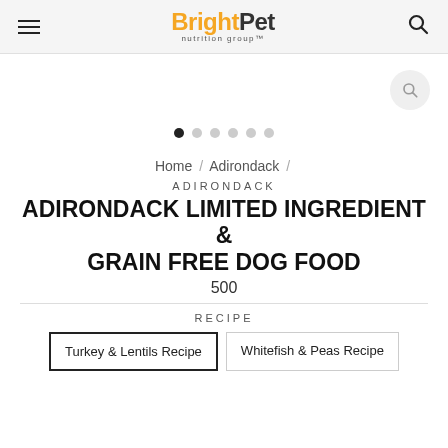BrightPet nutrition group
[Figure (other): Carousel image area with search icon and pagination dots]
Home / Adirondack /
ADIRONDACK
ADIRONDACK LIMITED INGREDIENT & GRAIN FREE DOG FOOD
500
RECIPE
Turkey & Lentils Recipe   Whitefish & Peas Recipe